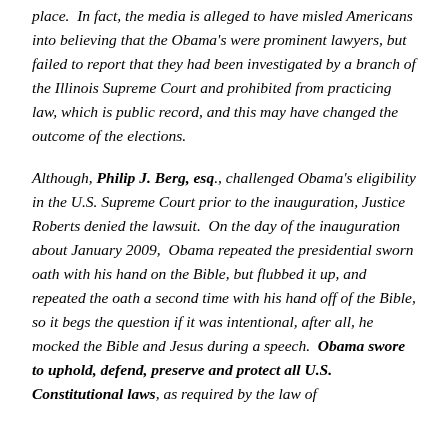place. In fact, the media is alleged to have misled Americans into believing that the Obama's were prominent lawyers, but failed to report that they had been investigated by a branch of the Illinois Supreme Court and prohibited from practicing law, which is public record, and this may have changed the outcome of the elections.
Although, Philip J. Berg, esq., challenged Obama's eligibility in the U.S. Supreme Court prior to the inauguration, Justice Roberts denied the lawsuit. On the day of the inauguration about January 2009, Obama repeated the presidential sworn oath with his hand on the Bible, but flubbed it up, and repeated the oath a second time with his hand off of the Bible, so it begs the question if it was intentional, after all, he mocked the Bible and Jesus during a speech. Obama swore to uphold, defend, preserve and protect all U.S. Constitutional laws, as required by the law of